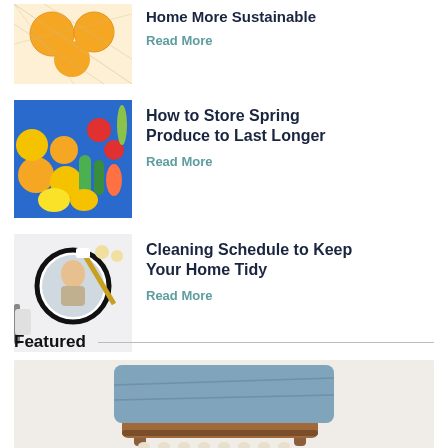[Figure (photo): Oranges in a mesh net bag on a white surface]
Home More Sustainable
Read More
[Figure (photo): Assorted fruits and vegetables including citrus, tomatoes, peppers, and cucumbers on a blue surface]
How to Store Spring Produce to Last Longer
Read More
[Figure (photo): Person cleaning a round mirror in a bathroom wearing yellow gloves]
Cleaning Schedule to Keep Your Home Tidy
Read More
Featured
[Figure (photo): Wooden chair with a blue denim pillow draped over it, on a white background]